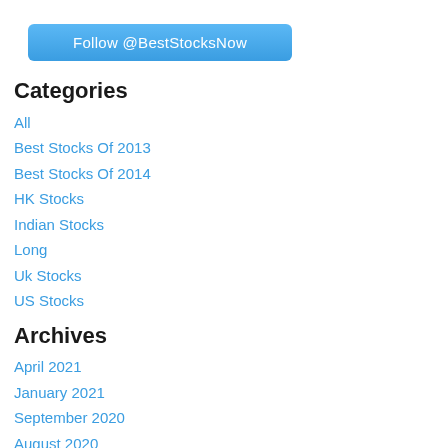[Figure (other): Blue rounded button labeled 'Follow @BestStocksNow']
Categories
All
Best Stocks Of 2013
Best Stocks Of 2014
HK Stocks
Indian Stocks
Long
Uk Stocks
US Stocks
Archives
April 2021
January 2021
September 2020
August 2020
May 2020
August 2019
July 2019